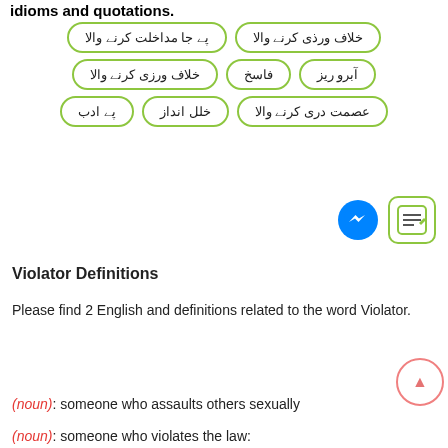idioms and quotations.
[Figure (infographic): Grid of Urdu word pills with green rounded borders: Row 1: پے جا مداخلت کرنے والا, خلاف ورذی کرنے والا. Row 2: خلاف ورزی کرنے والا, فاسخ, آبرو ریز. Row 3: پے ادب, خلل انداز, عصمت دری کرنے والا]
[Figure (infographic): Messenger icon (blue circle with lightning bolt) and a note/edit icon with green border]
Violator Definitions
Please find 2 English and definitions related to the word Violator.
(noun): someone who assaults others sexually
(noun): someone who violates the law: